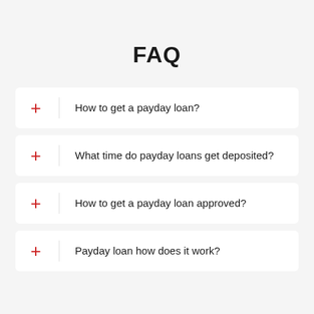FAQ
How to get a payday loan?
What time do payday loans get deposited?
How to get a payday loan approved?
Payday loan how does it work?